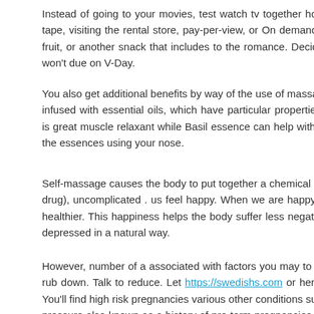Instead of going to your movies, test watch tv together home? It c tape, visiting the rental store, pay-per-view, or On demand. Lay ou fruit, or another snack that includes to the romance. Decide on a r won't due on V-Day.
You also get additional benefits by way of the use of massage moto infused with essential oils, which have particular properties having is great muscle relaxant while Basil essence can help with your col the essences using your nose.
Self-massage causes the body to put together a chemical called en drug), uncomplicated . us feel happy. When we are happy, cups of healthier. This happiness helps the body suffer less negative feelin depressed in a natural way.
However, number of a associated with factors you may to ensure b rub down. Talk to reduce. Let https://swedishs.com or her give the You'll find high risk pregnancies various other conditions such as hy pressure also known as a history of pre-term pregnancies which ca body and lead to complications if your body isn't treated delicately answer your questions and advice you as required.